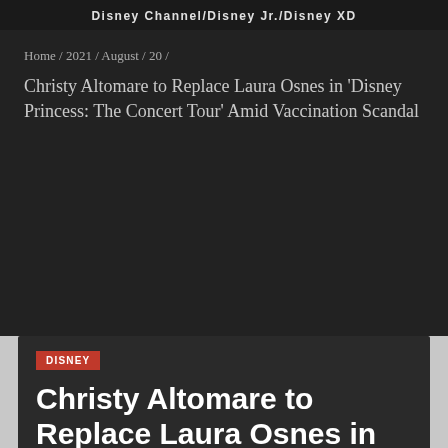Disney Channel/Disney Jr./Disney XD
Home / 2021 / August / 20 /
Christy Altomare to Replace Laura Osnes in ‘Disney Princess: The Concert Tour’ Amid Vaccination Scandal
DISNEY
Christy Altomare to Replace Laura Osnes in ‘Disney